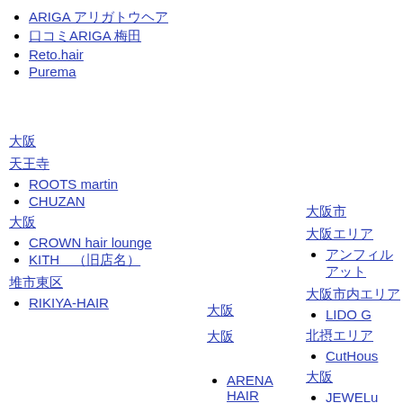ARIGA アリガトウヘア
口コミARIGA 梅田
Reto.hair
Purema
大阪
天王寺
ROOTS martin
CHUZAN
大阪
CROWN hair lounge
KITH　(旧店名)
堺市東区
RIKIYA-HAIR
大阪
大阪
ARENA HAIR
サンキューカット
大阪市
大阪エリア
アンフィルアット
大阪市内エリア
LIDO G
北摂エリア
CutHous
大阪
JEWELu